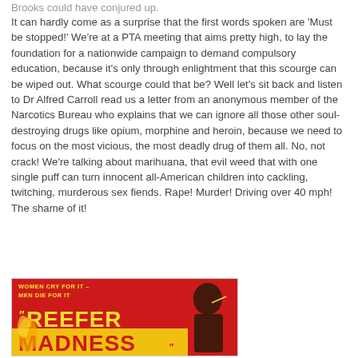Brooks could have conjured up.
It can hardly come as a surprise that the first words spoken are 'Must be stopped!' We're at a PTA meeting that aims pretty high, to lay the foundation for a nationwide campaign to demand compulsory education, because it's only through enlightment that this scourge can be wiped out. What scourge could that be? Well let's sit back and listen to Dr Alfred Carroll read us a letter from an anonymous member of the Narcotics Bureau who explains that we can ignore all those other soul-destroying drugs like opium, morphine and heroin, because we need to focus on the most vicious, the most deadly drug of them all. No, not crack! We're talking about marihuana, that evil weed that with one single puff can turn innocent all-American children into cackling, twitching, murderous sex fiends. Rape! Murder! Driving over 40 mph! The shame of it!
[Figure (illustration): Reefer Madness movie poster - red background with yellow text reading 'WOMEN CRY FOR IT - MEN DIE FOR IT' and large title 'REEFER MADNESS' with silhouette of a man smoking]